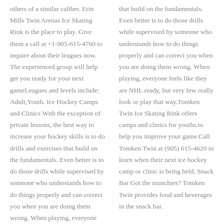others of a similar caliber. Erin Mills Twin Arenas Ice Skating Rink is the place to play. Give them a call at +1-905-615-4760 to inquire about their leagues now. The experienced group will help get you ready for your next gameLeagues and levels include: Adult,Youth. Ice Hockey Camps and Clinics With the exception of private lessons, the best way to increase your hockey skills is to do drills and exercises that build on the fundamentals. Even better is to do those drills while supervised by someone who understands how to do things properly and can correct you when you are doing them wrong. When playing, everyone feels like they are NHL ready, but very few really
that build on the fundamentals. Even better is to do those drills while supervised by someone who understands how to do things properly and can correct you when you are doing them wrong. When playing, everyone feels like they are NHL ready, but very few really look or play that way.Tomken Twin Ice Skating Rink offers camps and clinics for youths.to help you improve your game.Call Tomken Twin at (905) 615-4620 to learn when their next ice hockey camp or clinic is being held. Snack Bar Got the munchies? Tomken Twin provides food and beverages in the snack bar.